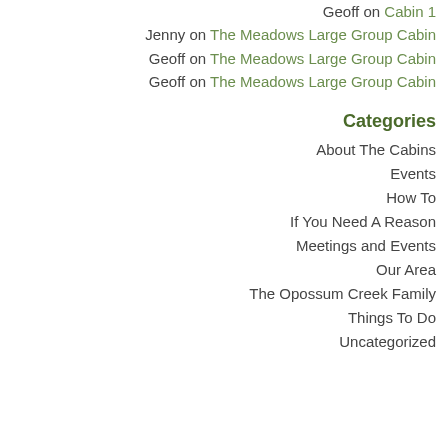Geoff on Cabin 1
Jenny on The Meadows Large Group Cabin
Geoff on The Meadows Large Group Cabin
Geoff on The Meadows Large Group Cabin
Categories
About The Cabins
Events
How To
If You Need A Reason
Meetings and Events
Our Area
The Opossum Creek Family
Things To Do
Uncategorized